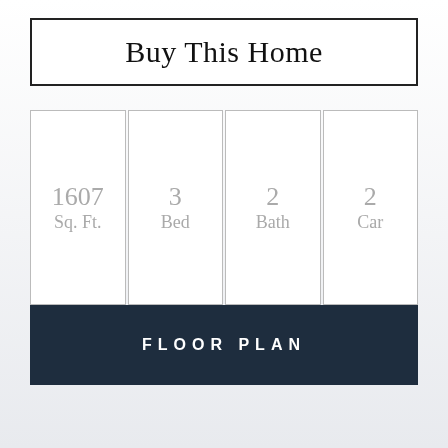Buy This Home
| Sq. Ft. | Bed | Bath | Car |
| --- | --- | --- | --- |
| 1607 Sq. Ft. | 3 Bed | 2 Bath | 2 Car |
FLOOR PLAN